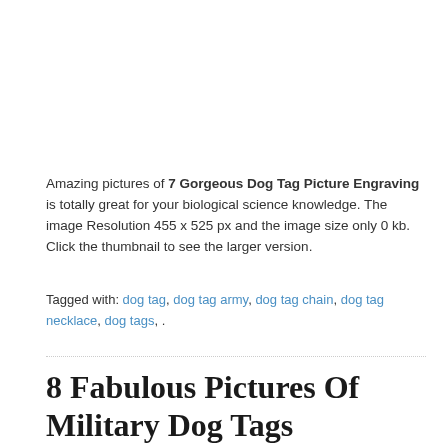Amazing pictures of 7 Gorgeous Dog Tag Picture Engraving is totally great for your biological science knowledge. The image Resolution 455 x 525 px and the image size only 0 kb. Click the thumbnail to see the larger version.
Tagged with: dog tag, dog tag army, dog tag chain, dog tag necklace, dog tags, .
8 Fabulous Pictures Of Military Dog Tags